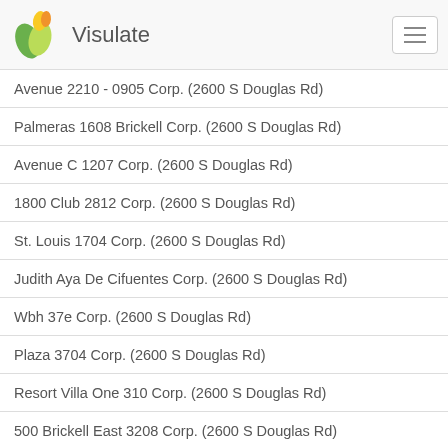Visulate
Avenue 2210 - 0905 Corp. (2600 S Douglas Rd)
Palmeras 1608 Brickell Corp. (2600 S Douglas Rd)
Avenue C 1207 Corp. (2600 S Douglas Rd)
1800 Club 2812 Corp. (2600 S Douglas Rd)
St. Louis 1704 Corp. (2600 S Douglas Rd)
Judith Aya De Cifuentes Corp. (2600 S Douglas Rd)
Wbh 37e Corp. (2600 S Douglas Rd)
Plaza 3704 Corp. (2600 S Douglas Rd)
Resort Villa One 310 Corp. (2600 S Douglas Rd)
500 Brickell East 3208 Corp. (2600 S Douglas Rd)